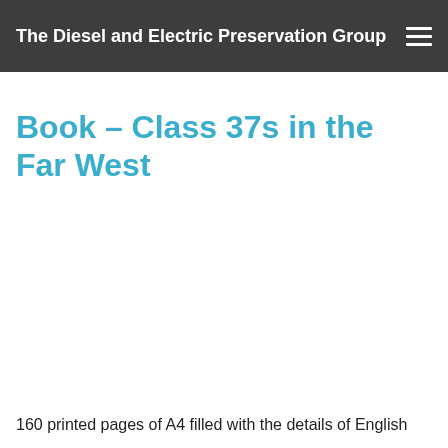The Diesel and Electric Preservation Group
Book – Class 37s in the Far West
160 printed pages of A4 filled with the details of English